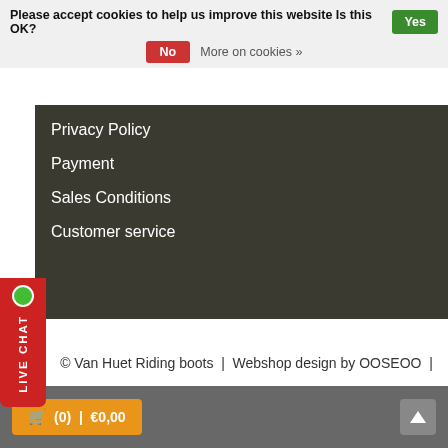Please accept cookies to help us improve this website Is this OK? Yes
No  More on cookies »
Privacy Policy
Payment
Sales Conditions
Customer service
[Figure (other): Live Chat button with green dot indicator, red vertical pill shape with LIVE CHAT text]
© Van Huet Riding boots  |  Webshop design by OOSEOO  |  Powered by Lightspeed
🛒 (0)  |  €0,00
[Figure (other): Up arrow chevron button for scroll to top]